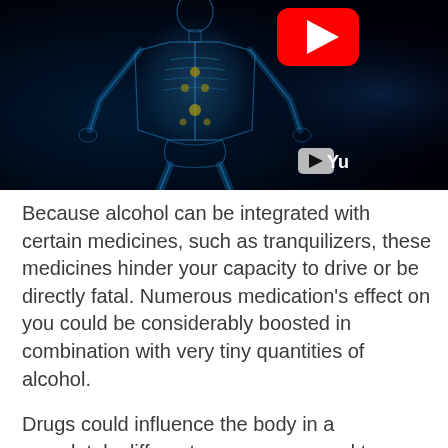[Figure (screenshot): YouTube video thumbnail showing a blue X-ray/anatomical human body figure against a dark background, with a red YouTube play button in the upper center and the YouTube logo in the lower right corner.]
Because alcohol can be integrated with certain medicines, such as tranquilizers, these medicines hinder your capacity to drive or be directly fatal. Numerous medication's effect on you could be considerably boosted in combination with very tiny quantities of alcohol.
Drugs could influence the body in a completely different means compared to alcohol. A person under the impact of these medicines may then unexpectedly collapse behind the wheel, without